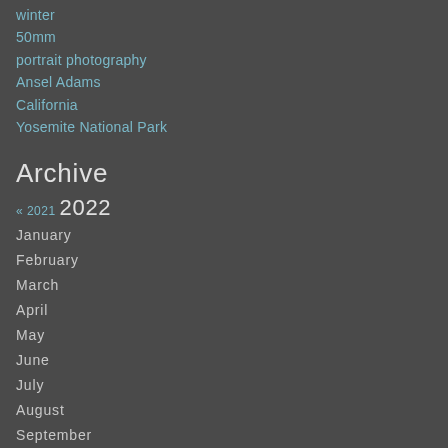winter
50mm
portrait photography
Ansel Adams
California
Yosemite National Park
Archive
« 2021  2022
January
February
March
April
May
June
July
August
September